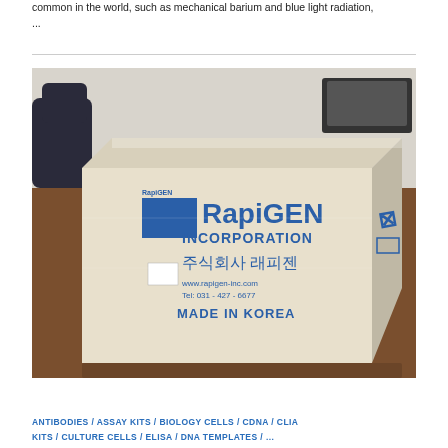common in the world, such as mechanical barium and blue light radiation, ...
[Figure (photo): A cardboard box labeled 'RapiGEN INCORPORATION' with Korean text '주식회사 래피젠', website www.rapigen-inc.com, phone Tel: 031-427-6677, and 'MADE IN KOREA', sitting on a brown conference table with office chairs in background.]
ANTIBODIES / ASSAY KITS / BIOLOGY CELLS / CDNA / CLIA KITS / CULTURE CELLS / ELISA / DNA TEMPLATES / ...